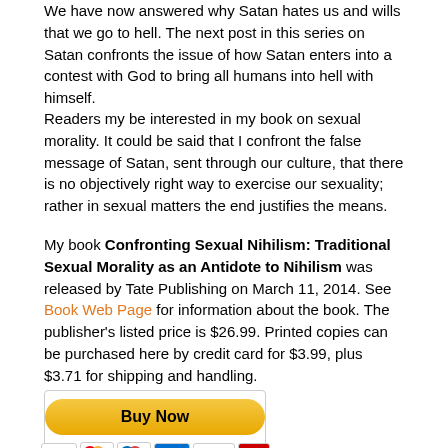We have now answered why Satan hates us and wills that we go to hell. The next post in this series on Satan confronts the issue of how Satan enters into a contest with God to bring all humans into hell with himself.
Readers my be interested in my book on sexual morality. It could be said that I confront the false message of Satan, sent through our culture, that there is no objectively right way to exercise our sexuality; rather in sexual matters the end justifies the means.
My book Confronting Sexual Nihilism: Traditional Sexual Morality as an Antidote to Nihilism was released by Tate Publishing on March 11, 2014. See Book Web Page for information about the book. The publisher's listed price is $26.99. Printed copies can be purchased here by credit card for $3.99, plus $3.71 for shipping and handling.
[Figure (other): PayPal Buy Now button with credit card icons (Visa, Mastercard, Maestro, American Express, Discover, UnionPay)]
To purchase the printed book by check, send check of $3.99 plus $3.71 for shipping and handling per copy. Send to: